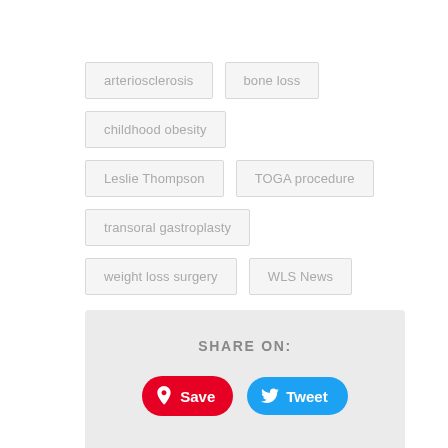arteriosclerosis
bone loss
childhood obesity
Leslie Thompson
TOGA procedure
transoral gastroplasty
weight loss surgery
WLS News
SHARE ON: